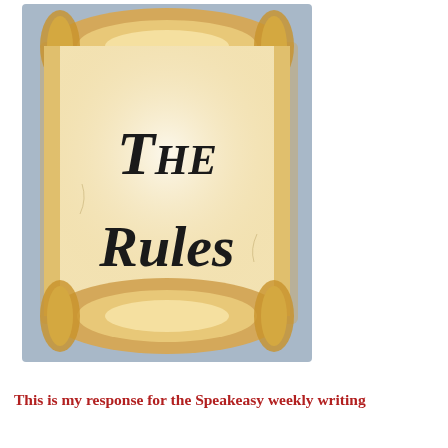[Figure (illustration): An illustrated parchment scroll with decorative rolled ends, displaying the text 'The Rules' in ornate blackletter/gothic font. The scroll has a warm tan/cream color with aged edges.]
This is my response for the Speakeasy weekly writing